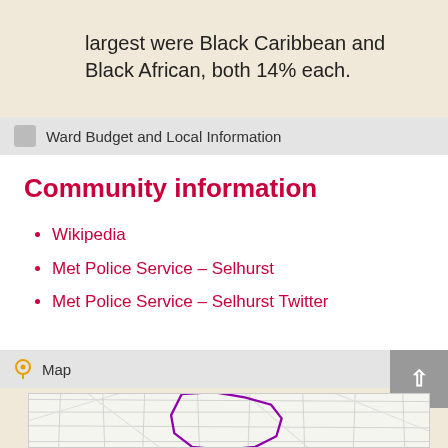largest were Black Caribbean and Black African, both 14% each.
Ward Budget and Local Information
Community information
Wikipedia
Met Police Service – Selhurst (strikethrough)
Met Police Service – Selhurst Twitter
Map
[Figure (map): Street map showing Selhurst ward boundary outlined in purple]